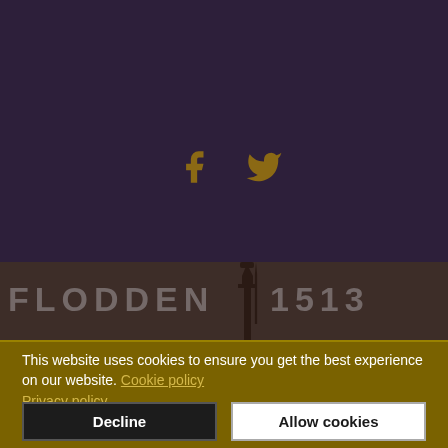[Figure (logo): Flodden 1513 website logo banner with silhouette of a stone monument/cross against a dark purple background, with the text FLODDEN 1513 in large letters]
[Figure (illustration): Social media icons: Facebook (f) and Twitter (bird) icons in golden/amber color on dark purple background]
This website uses cookies to ensure you get the best experience on our website. Cookie policy
Privacy policy
Decline
Allow cookies